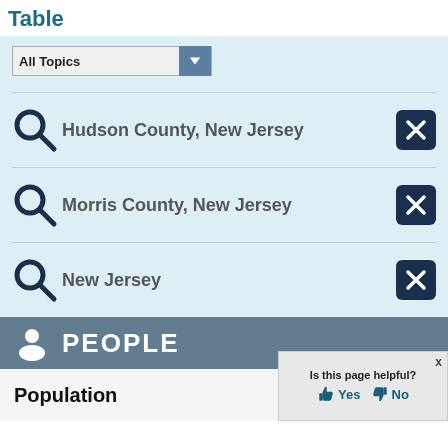Table
Hudson County, New Jersey
Morris County, New Jersey
New Jersey
PEOPLE
Population
Is this page helpful? Yes No